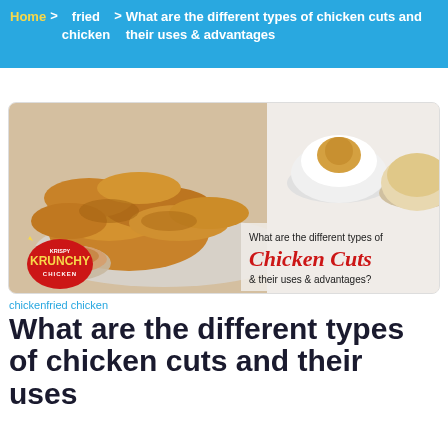Home > fried chicken > What are the different types of chicken cuts and their uses & advantages
[Figure (photo): Krispy Krunchy Chicken promotional image showing a plate of fried chicken tenders with dipping sauce, a bowl of mashed potatoes with gravy, and a bowl of mac and cheese. Text overlay reads 'What are the different types of Chicken Cuts & their uses & advantages?' with Krispy Krunchy Chicken logo.]
chickenfried chicken
What are the different types of chicken cuts and their uses